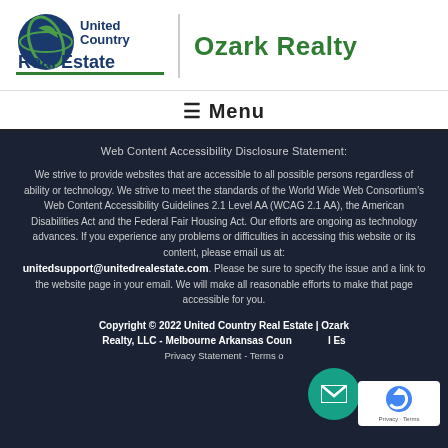[Figure (logo): United Country Real Estate logo with globe icon and text, plus 'Ozark Realty' branding]
≡ Menu
Web Content Accessibility Disclosure Statement:
We strive to provide websites that are accessible to all possible persons regardless of ability or technology. We strive to meet the standards of the World Wide Web Consortium's Web Content Accessibility Guidelines 2.1 Level AA (WCAG 2.1 AA), the American Disabilities Act and the Federal Fair Housing Act. Our efforts are ongoing as technology advances. If you experience any problems or difficulties in accessing this website or its content, please email us at: unitedsupport@unitedrealestate.com. Please be sure to specify the issue and a link to the website page in your email. We will make all reasonable efforts to make that page accessible for you.
Copyright © 2022 United Country Real Estate | Ozark Realty, LLC - Melbourne Arkansas Country Real Estate | Privacy Statement - Terms of Use